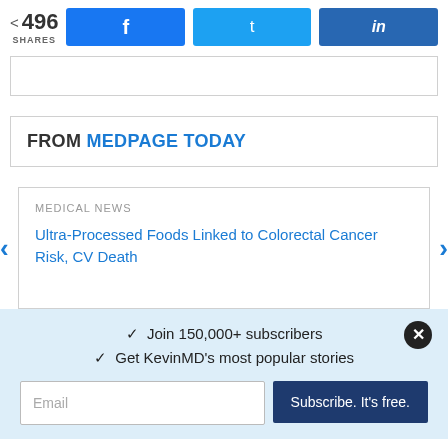[Figure (infographic): Social share bar showing 496 shares with Facebook, Twitter, and LinkedIn buttons]
[Figure (infographic): Empty bordered box (partial content from above)]
FROM MEDPAGE TODAY
MEDICAL NEWS
Ultra-Processed Foods Linked to Colorectal Cancer Risk, CV Death
✓ Join 150,000+ subscribers
✓ Get KevinMD's most popular stories
Email
Subscribe. It's free.